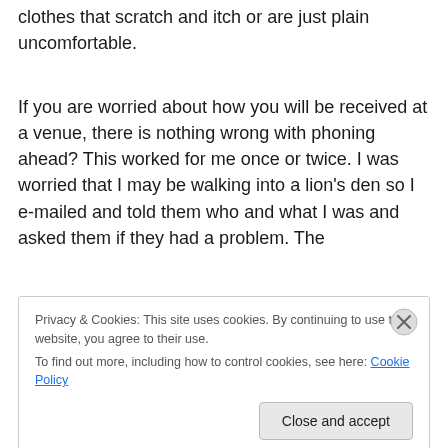clothes that scratch and itch or are just plain uncomfortable.
If you are worried about how you will be received at a venue, there is nothing wrong with phoning ahead? This worked for me once or twice. I was worried that I may be walking into a lion's den so I e-mailed and told them who and what I was and asked them if they had a problem. The
Privacy & Cookies: This site uses cookies. By continuing to use this website, you agree to their use.
To find out more, including how to control cookies, see here: Cookie Policy